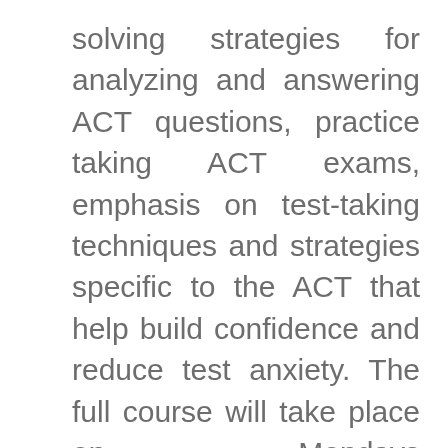solving strategies for analyzing and answering ACT questions, practice taking ACT exams, emphasis on test-taking techniques and strategies specific to the ACT that help build confidence and reduce test anxiety. The full course will take place on Mondays (Math/Science) and Wednesdays (English/Reading) for four weeks as well as one Saturday (Writing).
Where: Learning Resource Center, 1628 S. Florida Ave., Lakeland